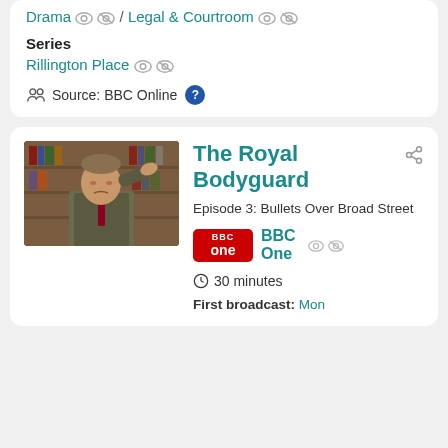Drama / Legal & Courtroom
Series
Rillington Place
Source: BBC Online
[Figure (photo): A man in a suit giving a military salute, standing in front of bookshelves]
The Royal Bodyguard
Episode 3: Bullets Over Broad Street
BBC One
30 minutes
First broadcast: Mon